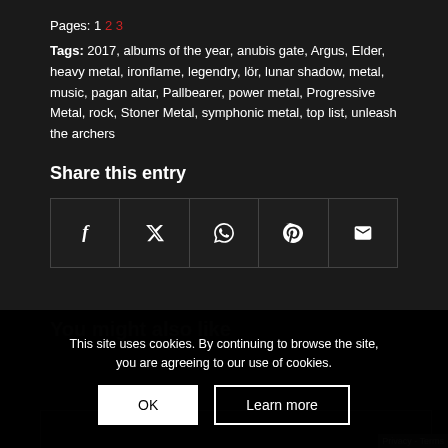Pages: 1 2 3
Tags: 2017, albums of the year, anubis gate, Argus, Elder, heavy metal, ironflame, legendry, lör, lunar shadow, metal, music, pagan altar, Pallbearer, power metal, Progressive Metal, rock, Stoner Metal, symphonic metal, top list, unleash the archers
Share this entry
Share buttons: Facebook, Twitter, WhatsApp, Pinterest, Email
You might also like
This site uses cookies. By continuing to browse the site, you are agreeing to our use of cookies.
OK | Learn more
V... of the year 2021